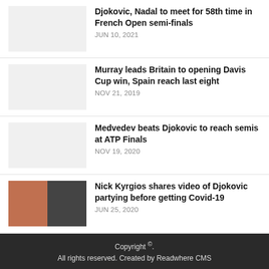Djokovic, Nadal to meet for 58th time in French Open semi-finals — JUN 10, 2021
Murray leads Britain to opening Davis Cup win, Spain reach last eight — NOV 21, 2019
Medvedev beats Djokovic to reach semis at ATP Finals — NOV 19, 2020
Nick Kyrgios shares video of Djokovic partying before getting Covid-19 — JUN 25, 2020
Copyright ©. All rights reserved. Created by Readwhere CMS